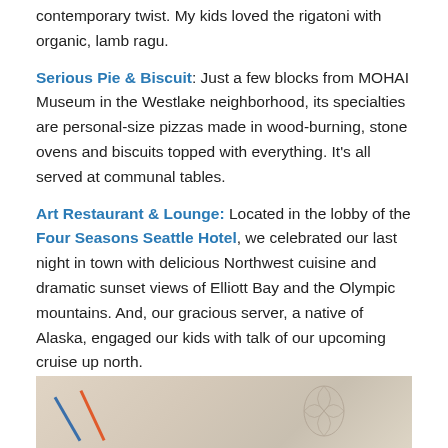contemporary twist. My kids loved the rigatoni with organic, lamb ragu.
Serious Pie & Biscuit: Just a few blocks from MOHAI Museum in the Westlake neighborhood, its specialties are personal-size pizzas made in wood-burning, stone ovens and biscuits topped with everything. It's all served at communal tables.
Art Restaurant & Lounge: Located in the lobby of the Four Seasons Seattle Hotel, we celebrated our last night in town with delicious Northwest cuisine and dramatic sunset views of Elliott Bay and the Olympic mountains. And, our gracious server, a native of Alaska, engaged our kids with talk of our upcoming cruise up north.
[Figure (photo): Partial view of what appears to be a menu or printed material with decorative elements, shown at bottom of page.]